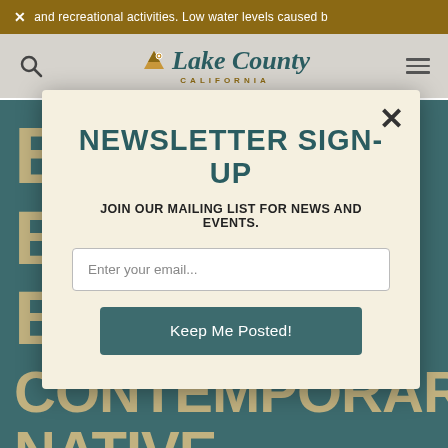× and recreational activities. Low water levels caused b
[Figure (logo): Lake County California logo with mountain icon and stylized script text]
NEWSLETTER SIGN-UP
JOIN OUR MAILING LIST FOR NEWS AND EVENTS.
Enter your email...
Keep Me Posted!
CONTEMPORARY NATIVE AMERICAN